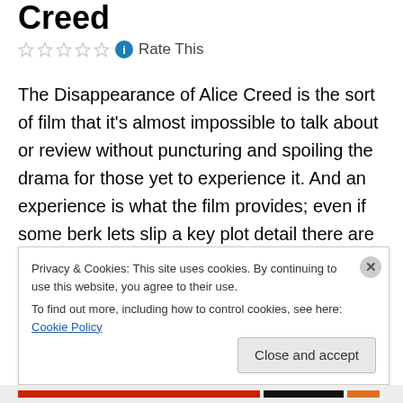Creed
Rate This
The Disappearance of Alice Creed is the sort of film that it's almost impossible to talk about or review without puncturing and spoiling the drama for those yet to experience it. And an experience is what the film provides; even if some berk lets slip a key plot detail there are more than enough twists, turns and unforeseen, sudden plunges on this tense rollercoaster ride to keep you entertained and constantly clueless. It's the sort of film that has you on
Privacy & Cookies: This site uses cookies. By continuing to use this website, you agree to their use.
To find out more, including how to control cookies, see here: Cookie Policy
Close and accept